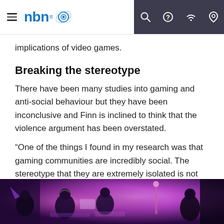nbn
implications of video games.
Breaking the stereotype
There have been many studies into gaming and anti-social behaviour but they have been inconclusive and Finn is inclined to think that the violence argument has been overstated.
“One of the things I found in my research was that gaming communities are incredibly social. The stereotype that they are extremely isolated is not the case. They’re very social.”
[Figure (photo): Gaming event scene with people playing games under purple/pink lighting, wearing headphones, at computer stations in a dark room.]